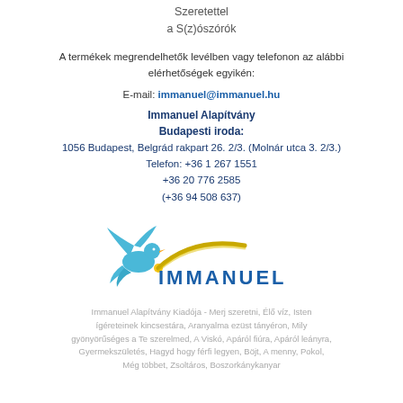Szeretettel
a S(z)ószórók
A termékek megrendelhetők levélben vagy telefonon az alábbi elérhetőségek egyikén:
E-mail: immanuel@immanuel.hu
Immanuel Alapítvány
Budapesti iroda:
1056 Budapest, Belgrád rakpart 26. 2/3. (Molnár utca 3. 2/3.)
Telefon: +36 1 267 1551
+36 20 776 2585
(+36 94 508 637)
[Figure (logo): Immanuel Alapítvány logo with a dove and open book graphic in blue and yellow/gold, with the word IMMANUEL in blue capital letters]
Immanuel Alapítvány Kiadója - Merj szeretni, Élő víz, Isten ígéreteinek kincsestára, Aranyalma ezüst tányéron, Mily gyönyörűséges a Te szerelmed, A Viskó, Apáról fiúra, Apáról leányra, Gyermekszületés, Hagyd hogy férfi legyen, Böjt, A menny, Pokol, Még többet, Zsoltáros, Boszorkánykanyar